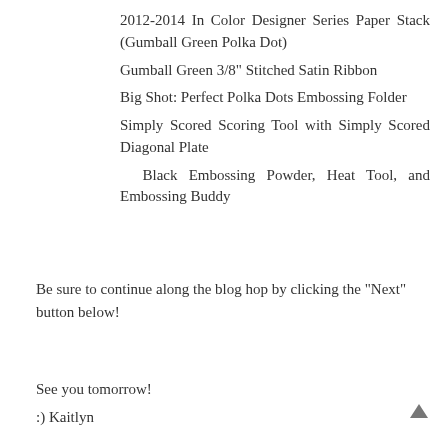2012-2014 In Color Designer Series Paper Stack (Gumball Green Polka Dot)
Gumball Green 3/8" Stitched Satin Ribbon
Big Shot: Perfect Polka Dots Embossing Folder
Simply Scored Scoring Tool with Simply Scored Diagonal Plate
Black Embossing Powder, Heat Tool, and Embossing Buddy
Be sure to continue along the blog hop by clicking the "Next" button below!
See you tomorrow!
:) Kaitlyn